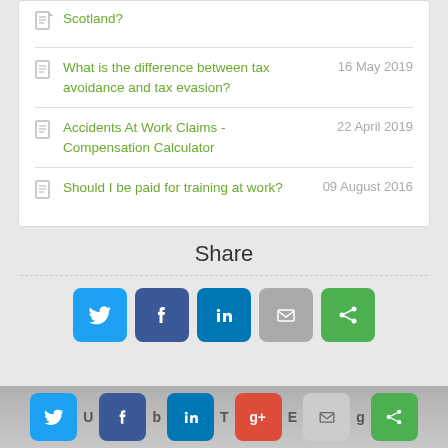Scotland?
What is the difference between tax avoidance and tax evasion? — 16 May 2019
Accidents At Work Claims - Compensation Calculator — 22 April 2019
Should I be paid for training at work? — 09 August 2016
Share
[Figure (infographic): Social share buttons: Twitter, Facebook, LinkedIn, Email, Share]
[Figure (infographic): Footer social share buttons: Twitter, Facebook, LinkedIn, Google+, Email, Share with text labels]